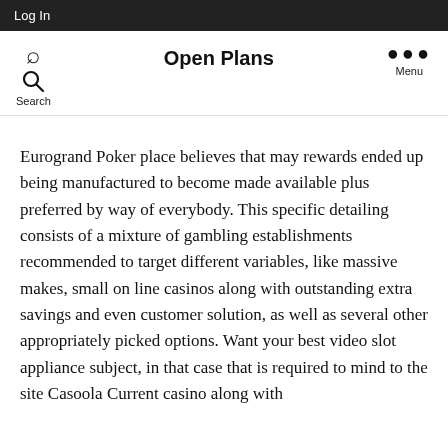Log In
Open Plans
Eurogrand Poker place believes that may rewards ended up being manufactured to become made available plus preferred by way of everybody. This specific detailing consists of a mixture of gambling establishments recommended to target different variables, like massive makes, small on line casinos along with outstanding extra savings and even customer solution, as well as several other appropriately picked options. Want your best video slot appliance subject, in that case that is required to mind to the site Casoola Current casino along with